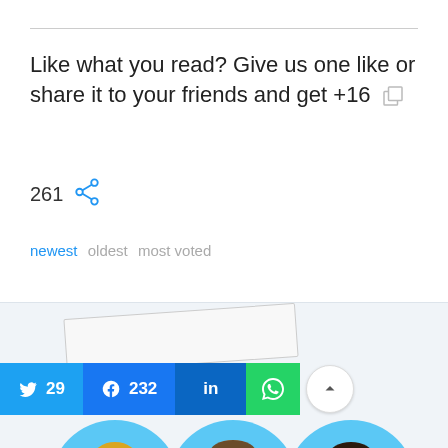Like what you read? Give us one like or share it to your friends and get +16
261
newest oldest most voted
[Figure (screenshot): Social sharing bar with Twitter (29), Facebook (232), LinkedIn, WhatsApp buttons, and three circular profile photos of people on a light blue background]